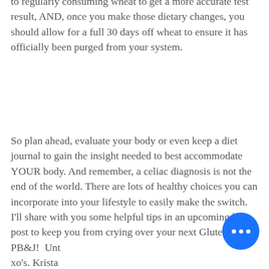to regularly consuming wheat to get a more accurate test result, AND, once you make those dietary changes, you should allow for a full 30 days off wheat to ensure it has officially been purged from your system.
So plan ahead, evaluate your body or even keep a diet journal to gain the insight needed to best accommodate YOUR body. And remember, a celiac diagnosis is not the end of the world. There are lots of healthy choices you can incorporate into your lifestyle to easily make the switch. I'll share with you some helpful tips in an upcoming blog post to keep you from crying over your next Gluten-Free PB&J!  Until... xo's. Krista